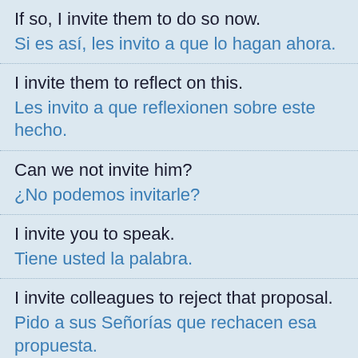If so, I invite them to do so now.
Si es así, les invito a que lo hagan ahora.
I invite them to reflect on this.
Les invito a que reflexionen sobre este hecho.
Can we not invite him?
¿No podemos invitarle?
I invite you to speak.
Tiene usted la palabra.
I invite colleagues to reject that proposal.
Pido a sus Señorías que rechacen esa propuesta.
It would be even more romantic if you would